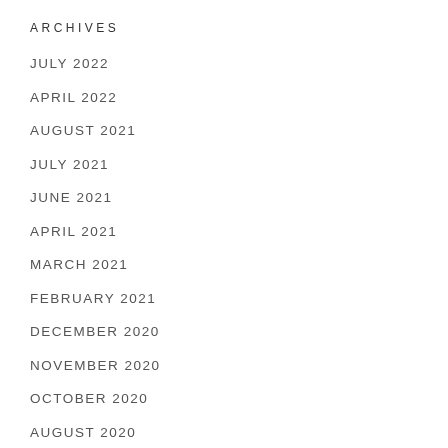ARCHIVES
JULY 2022
APRIL 2022
AUGUST 2021
JULY 2021
JUNE 2021
APRIL 2021
MARCH 2021
FEBRUARY 2021
DECEMBER 2020
NOVEMBER 2020
OCTOBER 2020
AUGUST 2020
JULY 2020
JUNE 2020